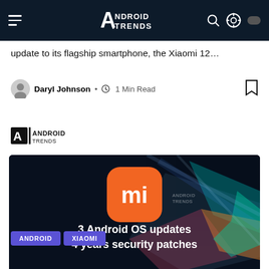Android Trends (navigation bar with logo)
update to its flagship smartphone, the Xiaomi 12…
Daryl Johnson • 1 Min Read
[Figure (logo): Android Trends logo — square 'A' icon with ANDROID TRENDS text]
[Figure (photo): Dark background image showing Xiaomi MI logo (orange rounded square) with text '3 Android OS updates / 4 years security patches' and abstract colorful geometric shapes]
ANDROID
XIAOMI